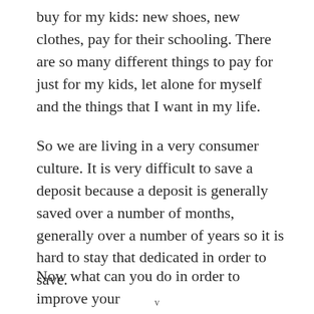buy for my kids: new shoes, new clothes, pay for their schooling. There are so many different things to pay for just for my kids, let alone for myself and the things that I want in my life.
So we are living in a very consumer culture. It is very difficult to save a deposit because a deposit is generally saved over a number of months, generally over a number of years so it is hard to stay that dedicated in order to save.
Now what can you do in order to improve your
v